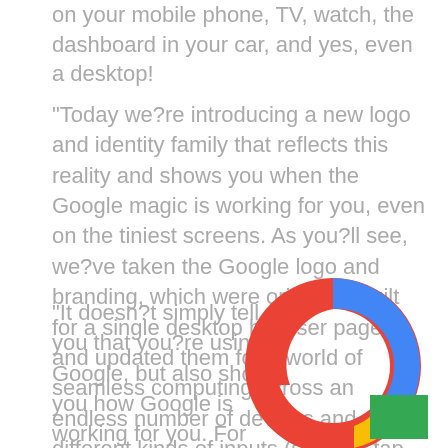on your mobile phone, TV, watch, the dashboard in your car, and yes, even a desktop!
"Today we?re introducing a new logo and identity family that reflects this reality and shows you when the Google magic is working for you, even on the tiniest screens. As you?ll see, we?ve taken the Google logo and branding, which were originally built for a single desktop browser page, and updated them for a world of seamless computing across an endless number of devices and different kinds of inputs (such as tap, type and talk).
"It doesn?t simply tell you that you?re using Google, but also shows you how Google is working for you. For example, new elements like a colorful G...
[Figure (logo): Google 'G' logo in four colors: blue (top), red (left), yellow (bottom), green (right tab), displayed as a donut/arc shape]